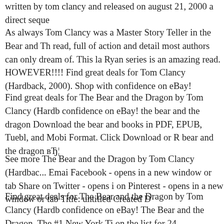written by tom clancy and released on august 21, 2000 a direct seque...
As always Tom Clancy was a Master Story Teller in the Bear and Th... read, full of action and detail most authors can only dream of. This la... Ryan series is an amazing read. HOWEVER!!!! Find great deals for ... Tom Clancy (Hardback, 2000). Shop with confidence on eBay!
Find great deals for The Bear and the Dragon by Tom Clancy (Hardb... confidence on eBay! the bear and the dragon Download the bear and ... books in PDF, EPUB, Tuebl, and Mobi Format. Click Download or R... bear and the dragon вЂ¦
See more The Bear and the Dragon by Tom Clancy (Hardbac... Emai... Facebook - opens in a new window or tab Share on Twitter - opens i... on Pinterest - opens in a new window or tab Title: untitled Created D...
Find great deals for The Bear and the Dragon by Tom Clancy (Hardb... confidence on eBay! The Bear and the Dragon. The #1 New York Ti... on the list for 24 weeks!President Jack Ryan faces a world crisis unli... Tom Clancy's extraordinary new novelвЂ™.A high-level assassination...